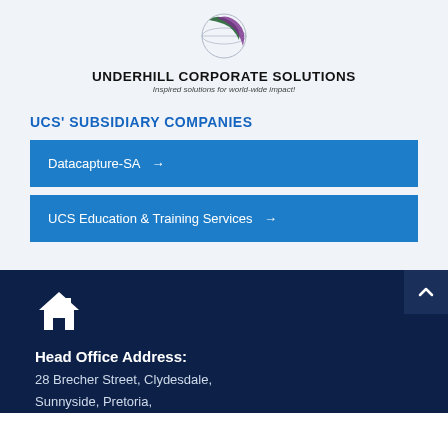[Figure (logo): Underhill Corporate Solutions logo - globe with dark green and purple swoosh design]
UNDERHILL CORPORATE SOLUTIONS
Inspired solutions for world-wide impact!
UCS' SUBSIDIARY COMPANIES
Datacapture-SA →
UCS Education & Training Services →
[Figure (illustration): White house/home icon on dark navy background]
Head Office Address:
28 Brecher Street, Clydesdale,
Sunnyside, Pretoria,